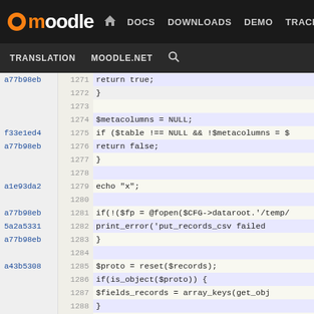moodle | DOCS DOWNLOADS DEMO TRACKER DEV | TRANSLATION MOODLE.NET
[Figure (screenshot): Moodle developer site navigation header with logo, nav links (DOCS, DOWNLOADS, DEMO, TRACKER, DEV highlighted in blue), and secondary nav (TRANSLATION, MOODLE.NET, search icon)]
| blame | line | code |
| --- | --- | --- |
| a77b98eb | 1271 |             return true; |
|  | 1272 |         } |
|  | 1273 |  |
|  | 1274 |         $metacolumns = NULL; |
| f33e1ed4 | 1275 |         if ($table !== NULL && !$metacolumns = $ |
| a77b98eb | 1276 |             return false; |
|  | 1277 |         } |
|  | 1278 |  |
| a1e93da2 | 1279 |         echo "x"; |
|  | 1280 |  |
| a77b98eb | 1281 |         if(!($fp = @fopen($CFG->dataroot.'/temp/ |
| 5a2a5331 | 1282 |             print_error('put_records_csv failed |
| a77b98eb | 1283 |         } |
|  | 1284 |  |
| a43b5308 | 1285 |         $proto = reset($records); |
|  | 1286 |         if(is_object($proto)) { |
|  | 1287 |             $fields_records = array_keys(get_obj |
|  | 1288 |         } |
|  | 1289 |         else if(is_array($proto)) { |
|  | 1290 |             $fields_records = array_keys($proto) |
|  | 1291 |         } |
|  | 1292 |         else { |
|  | 1293 |             return false; |
|  | 1294 |         } |
| a1e93da2 | 1295 |         echo "x"; |
| a77b98eb | 1296 |  |
|  | 1297 |         if(!empty($metacolumns)) { |